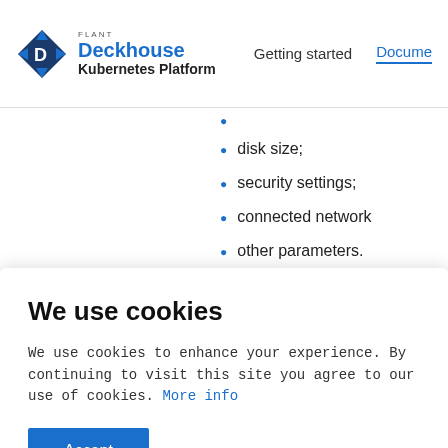FLANT Deckhouse Kubernetes Platform | Getting started | Documentation
disk size;
security settings;
connected network
other parameters.
We use cookies
We use cookies to enhance your experience. By continuing to visit this site you agree to our use of cookies. More info
Accept
The minimum/max